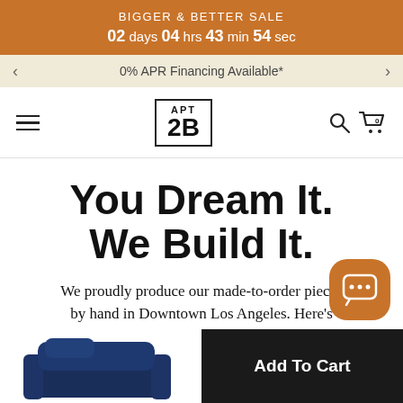BIGGER & BETTER SALE
02 days 04 hrs 43 min 54 sec
0% APR Financing Available*
[Figure (logo): APT 2B logo in a bordered box]
You Dream It. We Build It.
We proudly produce our made-to-order pieces by hand in Downtown Los Angeles. Here's
[Figure (photo): Navy blue armchair/sofa piece shown at bottom left]
Add To Cart